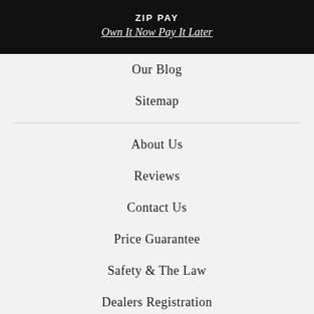ZIP PAY
Own It Now Pay It Later
Our Blog
Sitemap
About Us
Reviews
Contact Us
Price Guarantee
Safety & The Law
Dealers Registration
HAVE A QUESTION?